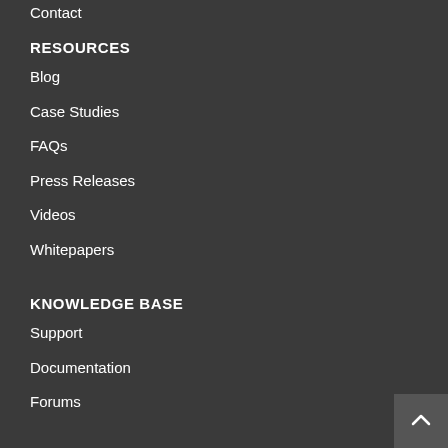Contact
RESOURCES
Blog
Case Studies
FAQs
Press Releases
Videos
Whitepapers
KNOWLEDGE BASE
Support
Documentation
Forums